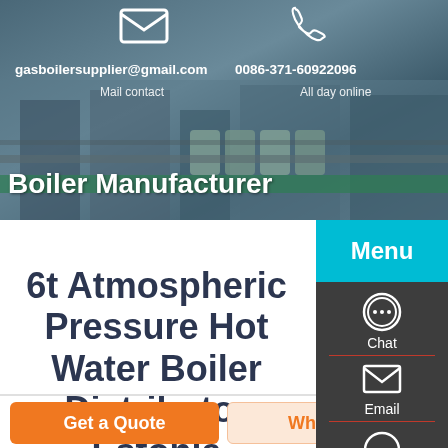[Figure (screenshot): Website header with industrial/manufacturing background photo showing industrial equipment and supplies]
gasboilersupplier@gmail.com
0086-371-60922096
Mail contact
All day online
Boiler Manufacturer
Menu
6t Atmospheric Pressure Hot Water Boiler Distributor Estonia
Chat
Email
Contact
Get a Quote
WhatsApp